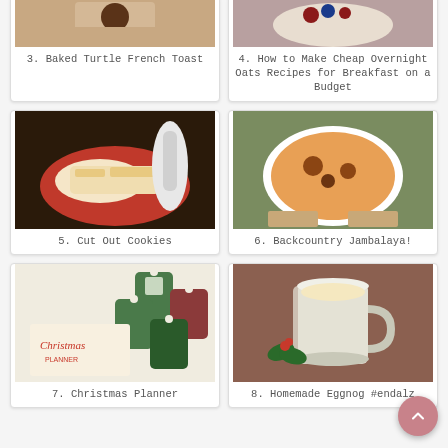[Figure (photo): Baked Turtle French Toast - food photo]
3. Baked Turtle French Toast
[Figure (photo): Bowl with overnight oats topped with berries]
4. How to Make Cheap Overnight Oats Recipes for Breakfast on a Budget
[Figure (photo): Cut out cookies on a red plate with a glass of milk]
5. Cut Out Cookies
[Figure (photo): Hands holding a bowl of jambalaya]
6. Backcountry Jambalaya!
[Figure (photo): Christmas planner with gift tags]
7. Christmas Planner
[Figure (photo): Glass mug of eggnog with holly decoration]
8. Homemade Eggnog #endalz